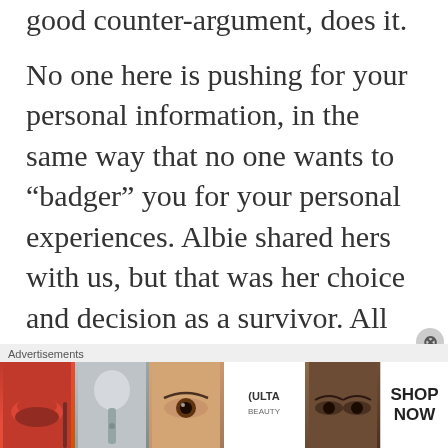good counter-argument, does it.
No one here is pushing for your personal information, in the same way that no one wants to “badger” you for your personal experiences. Albie shared hers with us, but that was her choice and decision as a survivor. All we can say is that we hope the Retreat is of benefit to you, and aids you in your healing process. Of course, it is your right
[Figure (other): Ulta Beauty advertisement banner showing makeup imagery including lips, brush, eye, Ulta logo, eyes, and a SHOP NOW call-to-action button]